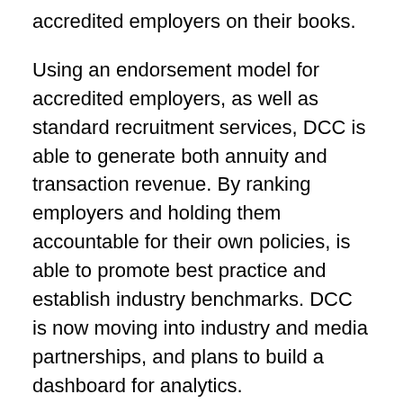accredited employers on their books.
Using an endorsement model for accredited employers, as well as standard recruitment services, DCC is able to generate both annuity and transaction revenue. By ranking employers and holding them accountable for their own policies, is able to promote best practice and establish industry benchmarks. DCC is now moving into industry and media partnerships, and plans to build a dashboard for analytics.
The panel of judges were keen to understand how DCC will maintain its point of differentiation, as well as build on its definition of diversity (e.g., transgender, transsexual and intersex). And given that there are federal initiatives already in this space, does an accreditation from DCC have as much value or impact?